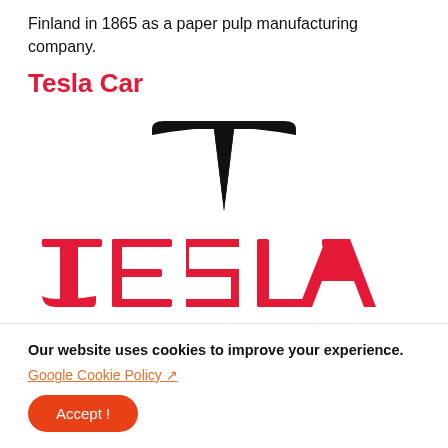Finland in 1865 as a paper pulp manufacturing company.
Tesla Car
[Figure (logo): Tesla logo: black T-shaped emblem above and large red TESLA wordmark below]
Our website uses cookies to improve your experience.
Google Cookie Policy ↗
Accept !